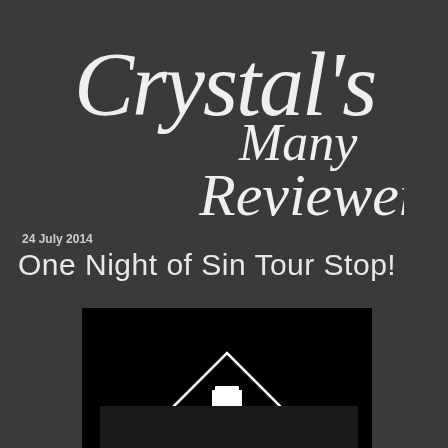[Figure (logo): Crystal's Many Reviewers blog logo in cursive white script on dark background]
24 July 2014
One Night of Sin Tour Stop!
[Figure (illustration): Dark image with white triangle/house shape and small icon in center, appears to be a book cover or promotional image]